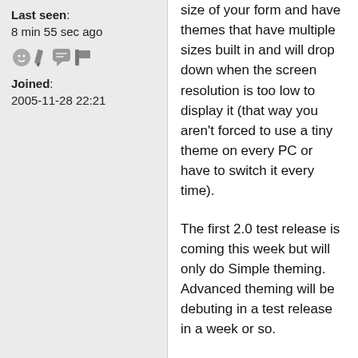Last seen: 8 min 55 sec ago
[Figure (illustration): Row of small icons: a grey circle face, a pencil/edit icon, a speech bubble icon, and a flag/bar icon]
Joined: 2005-11-28 22:21
size of your form and have themes that have multiple sizes built in and will drop down when the screen resolution is too low to display it (that way you aren't forced to use a tiny theme on every PC or have to switch it every time).
The first 2.0 test release is coming this week but will only do Simple theming. Advanced theming will be debuting in a test release in a week or so.
Sometimes, the impossible can become possible, if you're awesome!